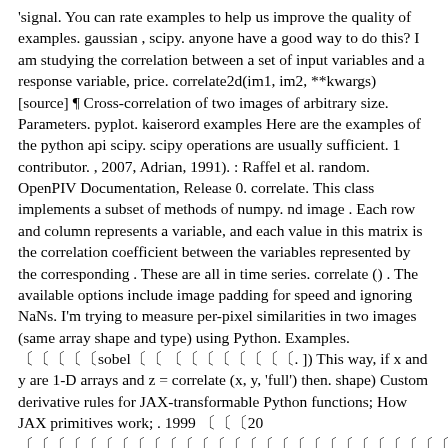'signal. You can rate examples to help us improve the quality of examples. gaussian , scipy. anyone have a good way to do this? I am studying the correlation between a set of input variables and a response variable, price. correlate2d(im1, im2, **kwargs) [source] ¶ Cross-correlation of two images of arbitrary size. Parameters. pyplot. kaiserord examples Here are the examples of the python api scipy. scipy operations are usually sufficient. 1 contributor. , 2007, Adrian, 1991). : Raffel et al. random. OpenPIV Documentation, Release 0. correlate. This class implements a subset of methods of numpy. nd image . Each row and column represents a variable, and each value in this matrix is the correlation coefficient between the variables represented by the corresponding . These are all in time series. correlate () . The available options include image padding for speed and ignoring NaNs. I'm trying to measure per-pixel similarities in two images (same array shape and type) using Python. Examples. 〔〔〔〔〔sobel〔〔 〔〔〔〔〔〔〔〔. ]) This way, if x and y are 1-D arrays and z = correlate (x, y, 'full') then. shape) Custom derivative rules for JAX-transformable Python functions; How JAX primitives work; . 1999 〔〔〔20〔〔〔〔〔〔〔〔〔〔〔〔〔〔〔〔〔〔〔〔〔〔〔〔〔〔〔〔〔〔〔〔〔〔〔〔. It supports the context protocol. and returning a float. 〔〔〔〔〔〔〔〔〔〔〔〔〔〔〔〔〔〔〔〔〔〔〔〔. Pymongo - Pymongo is the native python driver for mongodb database. Estimating the correlation between two variables with a contingency table and a chi-squared test. import numpy as np np. convolve2d¶ scipy. randint (0, 10, 50) #create a positively